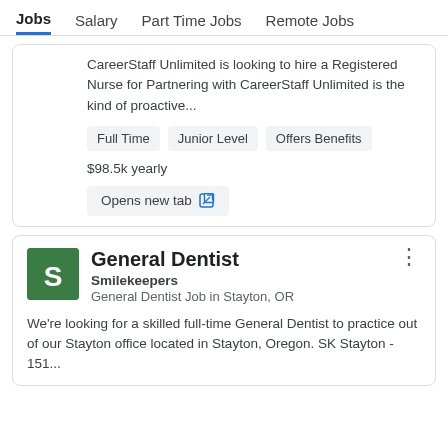Jobs  Salary  Part Time Jobs  Remote Jobs
CareerStaff Unlimited is looking to hire a Registered Nurse for Partnering with CareerStaff Unlimited is the kind of proactive...
Full Time
Junior Level
Offers Benefits
$98.5k yearly
Opens new tab
General Dentist
Smilekeepers
General Dentist Job in Stayton, OR
We're looking for a skilled full-time General Dentist to practice out of our Stayton office located in Stayton, Oregon. SK Stayton - 151...